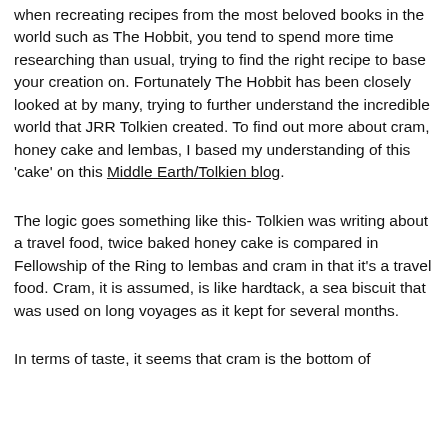when recreating recipes from the most beloved books in the world such as The Hobbit, you tend to spend more time researching than usual, trying to find the right recipe to base your creation on. Fortunately The Hobbit has been closely looked at by many, trying to further understand the incredible world that JRR Tolkien created. To find out more about cram, honey cake and lembas, I based my understanding of this 'cake' on this Middle Earth/Tolkien blog.
The logic goes something like this- Tolkien was writing about a travel food, twice baked honey cake is compared in Fellowship of the Ring to lembas and cram in that it's a travel food. Cram, it is assumed, is like hardtack, a sea biscuit that was used on long voyages as it kept for several months.
In terms of taste, it seems that cram is the bottom of...